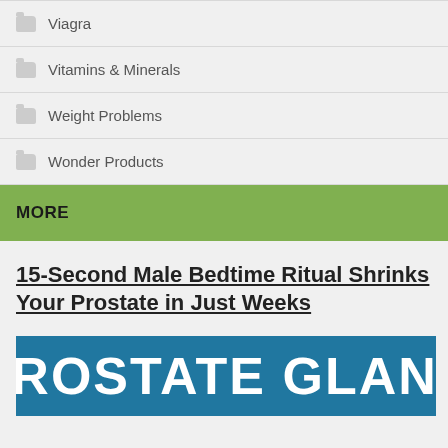Viagra
Vitamins & Minerals
Weight Problems
Wonder Products
MORE
15-Second Male Bedtime Ritual Shrinks Your Prostate in Just Weeks
[Figure (photo): Blue banner image with white bold text reading PROSTATE GLAND]